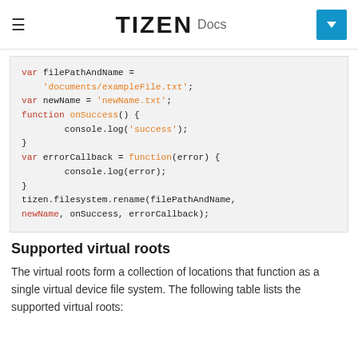TIZEN Docs
[Figure (screenshot): Code block showing JavaScript filesystem rename example: var filePathAndName = 'documents/exampleFile.txt'; var newName = 'newName.txt'; function onSuccess() { console.log('success'); } var errorCallback = function(error) { console.log(error); } tizen.filesystem.rename(filePathAndName, newName, onSuccess, errorCallback);]
Supported virtual roots
The virtual roots form a collection of locations that function as a single virtual device file system. The following table lists the supported virtual roots: